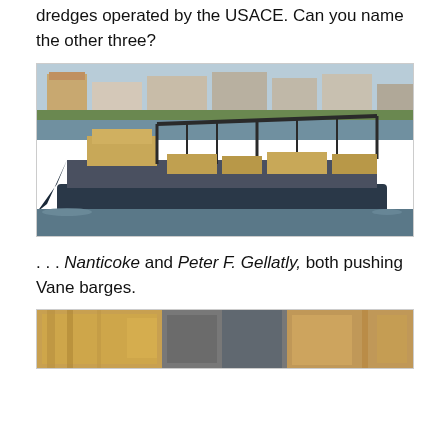dredges operated by the USACE. Can you name the other three?
[Figure (photo): A large dredge vessel with crane equipment operating on a river or harbor, with a city skyline visible in the background. The ship has a dark blue hull and yellow/tan superstructure with extensive crane and conveyor equipment.]
. . . Nanticoke and Peter F. Gellatly, both pushing Vane barges.
[Figure (photo): Partial view of what appears to be industrial waterfront or vessel equipment, cropped at the bottom of the page.]